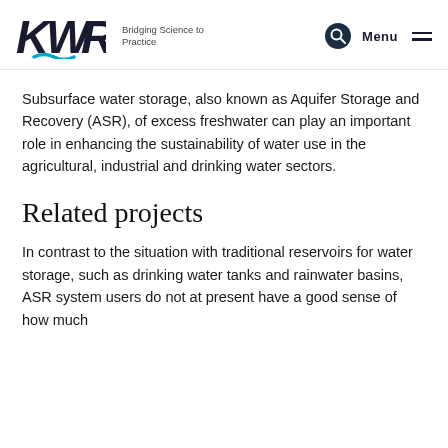KWR — Bridging Science to Practice — Menu
Subsurface water storage, also known as Aquifer Storage and Recovery (ASR), of excess freshwater can play an important role in enhancing the sustainability of water use in the agricultural, industrial and drinking water sectors.
Related projects
In contrast to the situation with traditional reservoirs for water storage, such as drinking water tanks and rainwater basins, ASR system users do not at present have a good sense of how much